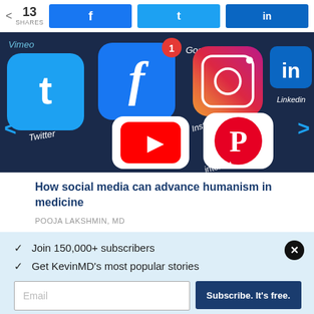13 SHARES | Facebook share | Twitter share | LinkedIn share
[Figure (photo): Close-up photo of social media app icons on a smartphone screen including Twitter, Facebook (with notification badge showing 1), Google+, Instagram, LinkedIn, YouTube, and Pinterest]
How social media can advance humanism in medicine
POOJA LAKSHMIN, MD
✓  Join 150,000+ subscribers
✓  Get KevinMD's most popular stories
Email  |  Subscribe. It's free.